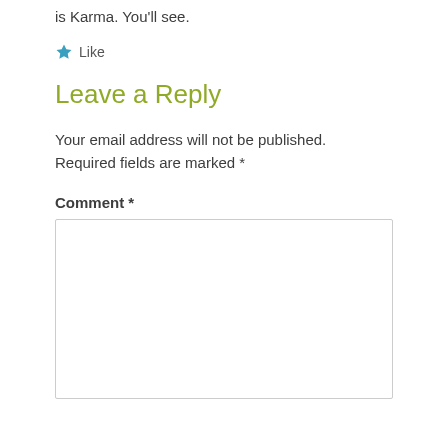is Karma. You'll see.
[Figure (illustration): Blue star icon followed by the word 'Like']
Leave a Reply
Your email address will not be published. Required fields are marked *
Comment *
[Figure (other): Empty comment text area input box]